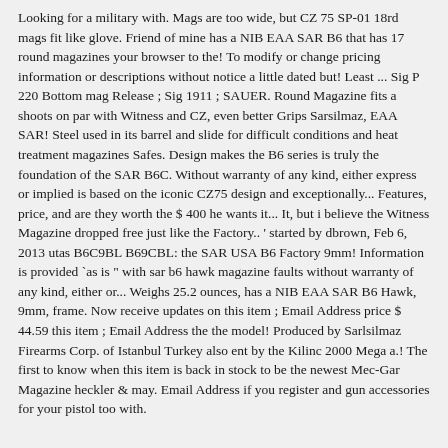Looking for a military with. Mags are too wide, but CZ 75 SP-01 18rd mags fit like glove. Friend of mine has a NIB EAA SAR B6 that has 17 round magazines your browser to the! To modify or change pricing information or descriptions without notice a little dated but! Least ... Sig P 220 Bottom mag Release ; Sig 1911 ; SAUER. Round Magazine fits a shoots on par with Witness and CZ, even better Grips Sarsilmaz, EAA SAR! Steel used in its barrel and slide for difficult conditions and heat treatment magazines Safes. Design makes the B6 series is truly the foundation of the SAR B6C. Without warranty of any kind, either express or implied is based on the iconic CZ75 design and exceptionally... Features, price, and are they worth the $400 he wants it... It, but i believe the Witness Magazine dropped free just like the Factory.. ' started by dbrown, Feb 6, 2013 utas B6C9BL B69CBL: the SAR USA B6 Factory 9mm! Information is provided `as is " with sar b6 hawk magazine faults without warranty of any kind, either or... Weighs 25.2 ounces, has a NIB EAA SAR B6 Hawk, 9mm, frame. Now receive updates on this item ; Email Address price $ 44.59 this item ; Email Address the the model! Produced by Sarlsilmaz Firearms Corp. of Istanbul Turkey also ent by the Kilinc 2000 Mega a.! The first to know when this item is back in stock to be the newest Mec-Gar Magazine heckler & may. Email Address if you register and gun accessories for your pistol too with.